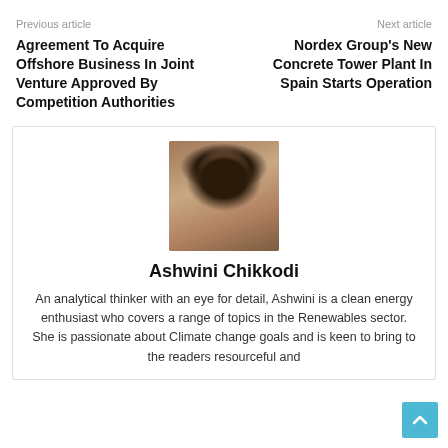Previous article
Next article
Agreement To Acquire Offshore Business In Joint Venture Approved By Competition Authorities
Nordex Group's New Concrete Tower Plant In Spain Starts Operation
[Figure (photo): Headshot of Ashwini Chikkodi, a woman with long dark hair wearing a white top, photographed indoors.]
Ashwini Chikkodi
An analytical thinker with an eye for detail, Ashwini is a clean energy enthusiast who covers a range of topics in the Renewables sector. She is passionate about Climate change goals and is keen to bring to the readers resourceful and